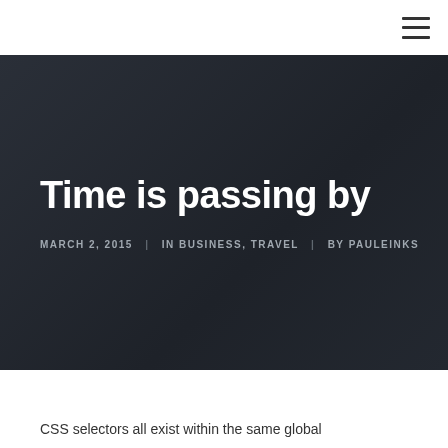≡
Time is passing by
MARCH 2, 2015  |  IN BUSINESS, TRAVEL  |  BY PAULEINKS
CSS selectors all exist within the same global